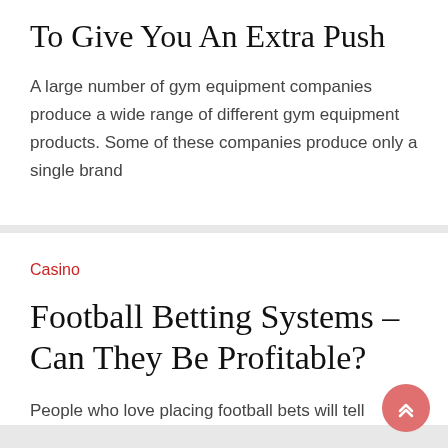To Give You An Extra Push
A large number of gym equipment companies produce a wide range of different gym equipment products. Some of these companies produce only a single brand
Casino
Football Betting Systems – Can They Be Profitable?
People who love placing football bets will tell